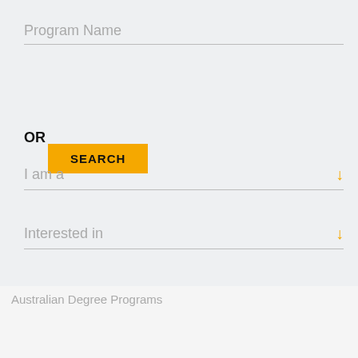Program Name
[Figure (other): SEARCH button (yellow/amber background, black bold text)]
OR
I am a
Interested in
[Figure (other): SEARCH button (yellow/amber background, black bold text)]
Australian Degree Programs
[Figure (infographic): Bottom navigation bar with five items: MAKE AN ENQUIRY (phone icon), GET A BROCHURE (document with clock icon), ATTEND A SESSION (calendar with clock icon), APPLY NOW (document icon), CHAT (speech bubble icon). Striped/hatched background pattern.]